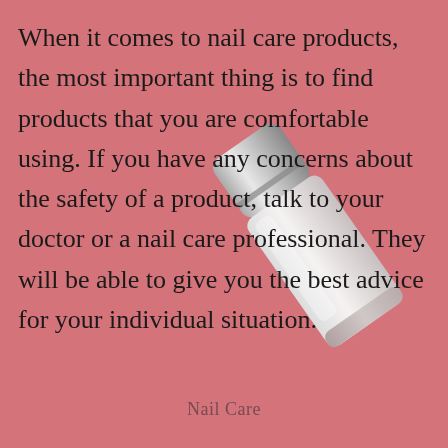[Figure (photo): A nail polish bottle lying diagonally on a pink background. The bottle has a silver metallic cap and a white/frosted glass body.]
When it comes to nail care products, the most important thing is to find products that you are comfortable using. If you have any concerns about the safety of a product, talk to your doctor or a nail care professional. They will be able to give you the best advice for your individual situation.
Nail Care